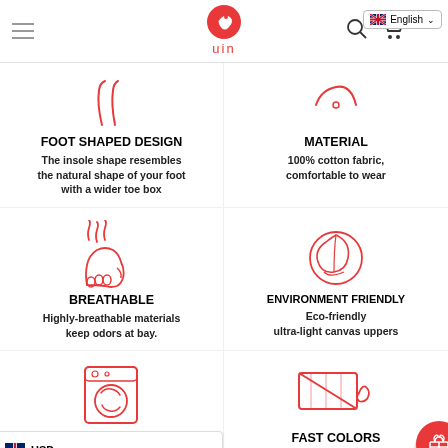uin — English
[Figure (illustration): Foot shaped design icon — two curved lines resembling insole shape]
FOOT SHAPED DESIGN
The insole shape resembles the natural shape of your foot with a wider toe box
[Figure (illustration): Material icon — curved smile/bowl shape]
MATERIAL
100% cotton fabric, comfortable to wear
[Figure (illustration): Breathable icon — foot with steam/heat lines]
BREATHABLE
Highly-breathable materials keep odors at bay.
[Figure (illustration): Environment friendly icon — globe with leaf/eco symbol]
ENVIRONMENT FRIENDLY
Eco-friendly ultra-light canvas uppers
[Figure (illustration): Washable icon — washing machine]
WASHABLE
Can be machine washed
[Figure (illustration): Fast colors icon — water droplet with X]
FAST COLORS
Advanced digital